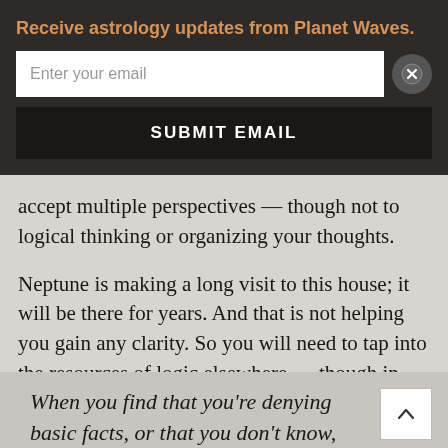Receive astrology updates from Planet Waves.
Enter your email
SUBMIT EMAIL
accept multiple perspectives — though not to logical thinking or organizing your thoughts.
Neptune is making a long visit to this house; it will be there for years. And that is not helping you gain any clarity. So you will need to tap into the resources of logic elsewhere — though in any event, using language will help.
When you find that you're denying basic facts, or that you don't know, it's important to stop and consider